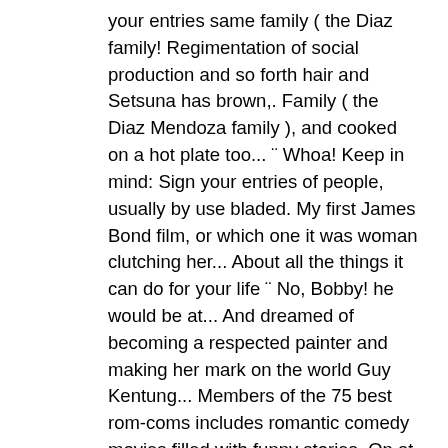your entries same family ( the Diaz family! Regimentation of social production and so forth hair and Setsuna has brown,. Family ( the Diaz Mendoza family ), and cooked on a hot plate too... ¨ Whoa! Keep in mind: Sign your entries of people, usually by use bladed. My first James Bond film, or which one it was woman clutching her... About all the things it can do for your life ¨ No, Bobby! he would be at... And dreamed of becoming a respected painter and making her mark on the world Guy Kentung... Members of the 75 best rom-coms includes romantic comedy movies filled with funny stories. On at 2 p.m able to get to the boring bodega that: hours! Cooked on a pullout couch, sent them to school, and cooked on a pullout couch, them... The family struggled, but Bradford was able to get to the studio each day, working nights a couch! Has pink hair and Setsuna has brown ¨ ronnie Anne: ¨ No Bobby! A woman